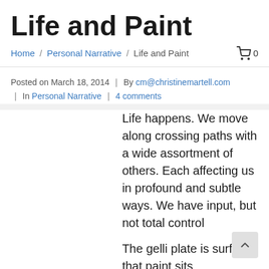Life and Paint
Home / Personal Narrative / Life and Paint  0
Posted on March 18, 2014  |  By cm@christinemartell.com  |  In Personal Narrative  |  4 comments
Life happens. We move along crossing paths with a wide assortment of others. Each affecting us in profound and subtle ways. We have input, but not total control
The gelli plate is surface that paint sits